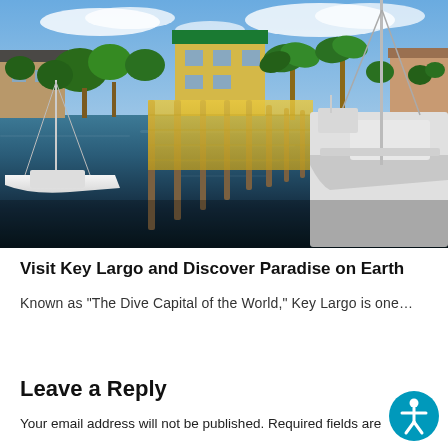[Figure (photo): A scenic canal or marina in Key Largo, Florida, with sailboats docked on both sides, wooden dock pilings, tropical vegetation and palm trees, colorful buildings in the background including a yellow structure, and calm dark water reflecting the surroundings under a partly cloudy blue sky.]
Visit Key Largo and Discover Paradise on Earth
Known as "The Dive Capital of the World," Key Largo is one...
Leave a Reply
Your email address will not be published. Required fields are